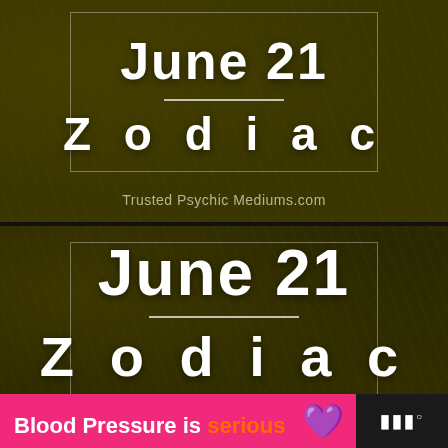[Figure (infographic): Top image panel with dark olive/khaki foliage background. White bordered rectangle containing large white text 'June 21' above a horizontal divider line and 'Zodiac' in spaced letters below. Watermark text 'Trusted Psychic Mediums.com' at bottom.]
[Figure (infographic): Bottom image panel (cropped repeat) with same dark olive foliage background. White bordered rectangle containing larger white text 'June 21' above a horizontal divider line and 'Zodiac' partially visible. Ad banner at bottom: pink section with 'Blood Pressure is serious' and purple heart icon, dark section with logo 'w' superscript circle.]